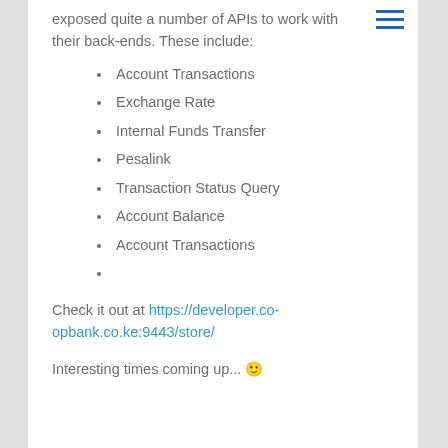exposed quite a number of APIs to work with their back-ends. These include:
Account Transactions
Exchange Rate
Internal Funds Transfer
Pesalink
Transaction Status Query
Account Balance
Account Transactions
Check it out at https://developer.co-opbank.co.ke:9443/store/
Interesting times coming up... 🙂